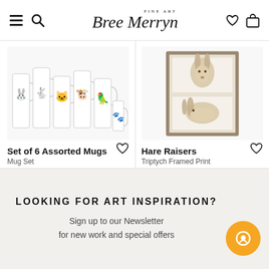Bree Merryn Fine Art
[Figure (photo): Set of 6 Assorted Mugs product photo showing multiple mugs with animal watercolour artwork]
Set of 6 Assorted Mugs
Mug Set
£39.99
★★★★★ (2)
[Figure (photo): Hare Raisers Triptych Framed Print showing two hare watercolour paintings in a grey frame]
Hare Raisers
Triptych Framed Print
£54.99
LOOKING FOR ART INSPIRATION?
Sign up to our Newsletter for new work and special offers